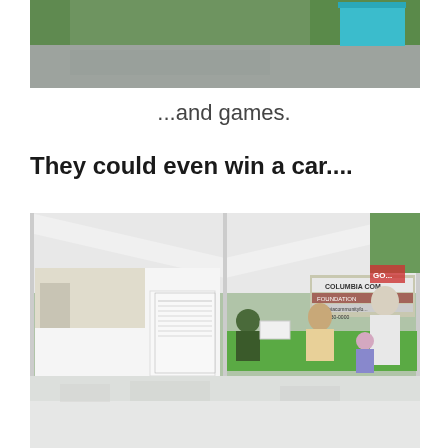[Figure (photo): Outdoor photo showing a paved road or path with grass and a teal/turquoise tent or canopy visible in the background on a sunny day.]
...and games.
They could even win a car....
[Figure (photo): Outdoor event photo showing a white tent/canopy with a 'Columbia Community Foundation' banner, people seated at tables, a sign board, and a green table with people interacting.]
[Figure (photo): Reflection or partial bottom photo continuing below the main bottom image.]